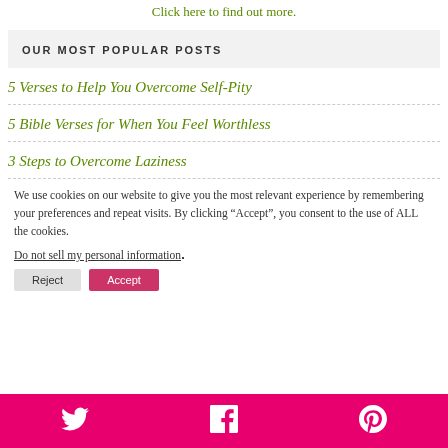Click here to find out more.
OUR MOST POPULAR POSTS
5 Verses to Help You Overcome Self-Pity
5 Bible Verses for When You Feel Worthless
3 Steps to Overcome Laziness
We use cookies on our website to give you the most relevant experience by remembering your preferences and repeat visits. By clicking “Accept”, you consent to the use of ALL the cookies.
Do not sell my personal information.
[Figure (other): Social sharing bar with Twitter, Facebook, and Pinterest icons on a pink/magenta background]